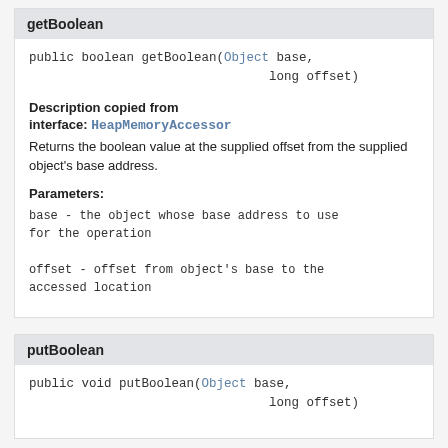getBoolean
public boolean getBoolean(Object base,
                                long offset)
Description copied from
interface: HeapMemoryAccessor
Returns the boolean value at the supplied offset from the supplied object's base address.
Parameters:
base - the object whose base address to use for the operation

offset - offset from object's base to the accessed location
putBoolean
public void putBoolean(Object base,
                                long offset